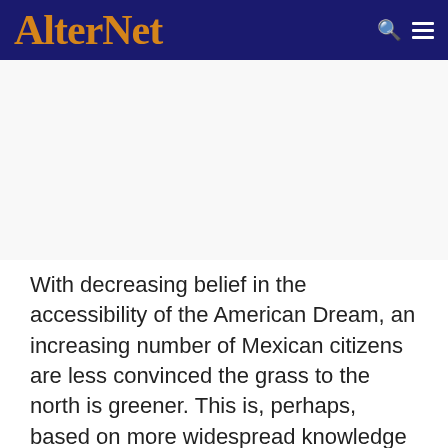AlterNet
With decreasing belief in the accessibility of the American Dream, an increasing number of Mexican citizens are less convinced the grass to the north is greener. This is, perhaps, based on more widespread knowledge of the difficult